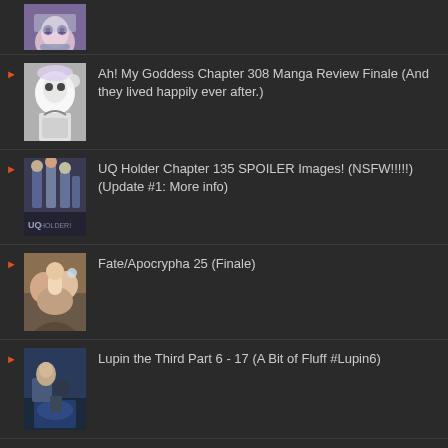[Figure (illustration): Anime girl with white hair and purple eyes, partial view at top]
Ah! My Goddess Chapter 308 Manga Review Finale (And they lived happily ever after.)
UQ Holder Chapter 135 SPOILER Images! (NSFW!!!!!)(Update #1: More info)
Fate/Apocrypha 25 (Finale)
Lupin the Third Part 6 - 17 (A Bit of Fluff #Lupin6)